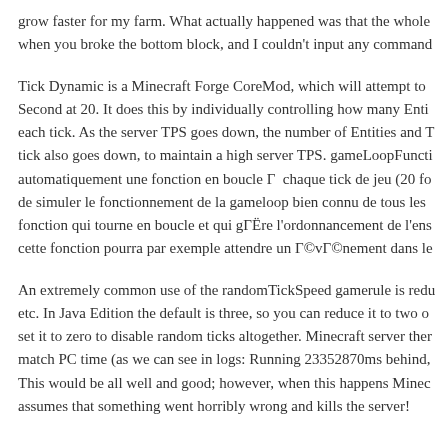grow faster for my farm. What actually happened was that the whole when you broke the bottom block, and I couldn't input any command
Tick Dynamic is a Minecraft Forge CoreMod, which will attempt to Second at 20. It does this by individually controlling how many Enti each tick. As the server TPS goes down, the number of Entities and T tick also goes down, to maintain a high server TPS. gameLoopFuncti automatiquement une fonction en boucle Γ  chaque tick de jeu (20 fo de simuler le fonctionnement de la gameloop bien connu de tous les  fonction qui tourne en boucle et qui gΓËre l'ordonnancement de l'ens cette fonction pourra par exemple attendre un Γ©vΓ©nement dans le
An extremely common use of the randomTickSpeed gamerule is redu etc. In Java Edition the default is three, so you can reduce it to two o set it to zero to disable random ticks altogether. Minecraft server ther match PC time (as we can see in logs: Running 23352870ms behind, This would be all well and good; however, when this happens Minec assumes that something went horribly wrong and kills the server!